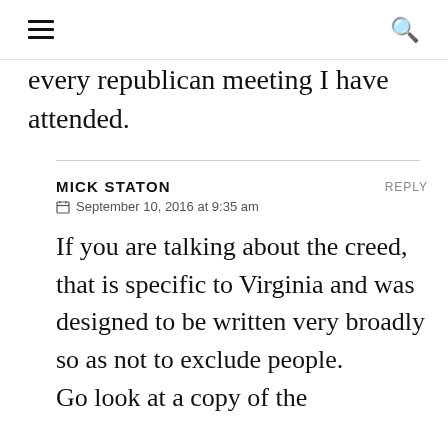☰  🔍
every republican meeting I have attended.
MICK STATON  REPLY
📅 September 10, 2016 at 9:35 am

If you are talking about the creed, that is specific to Virginia and was designed to be written very broadly so as not to exclude people.
Go look at a copy of the